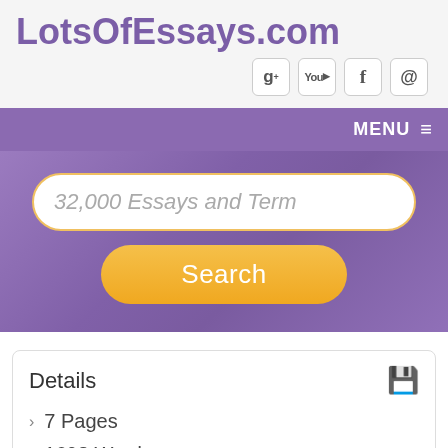LotsOfEssays.com
[Figure (screenshot): Social media icons: Google+, YouTube, Facebook, email]
MENU ☰
[Figure (screenshot): Search input box with placeholder text '32,000 Essays and Term' and an orange Search button]
Details
7 Pages
1698 Words